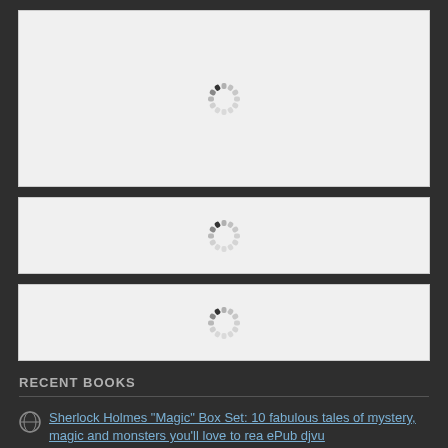[Figure (other): Loading spinner in a light gray box (large)]
[Figure (other): Loading spinner in a light gray box (small, first)]
[Figure (other): Loading spinner in a light gray box (small, second)]
RECENT BOOKS
Sherlock Holmes "Magic" Box Set: 10 fabulous tales of mystery, magic and monsters you'll love to rea ePub djvu
Ten tales of magic and mystery starring Sherlock Holmes, Harry Houdini, Doctor Watson, Professor Cha...